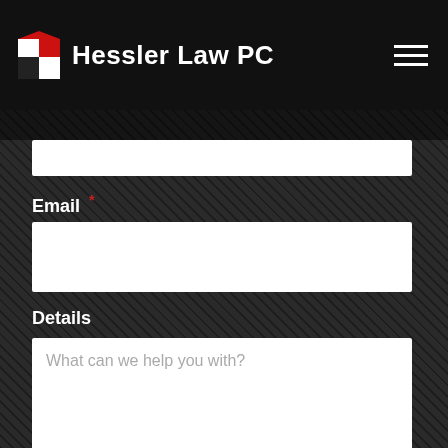Hessler Law PC
Email *
Details
What can we help you with?
Send